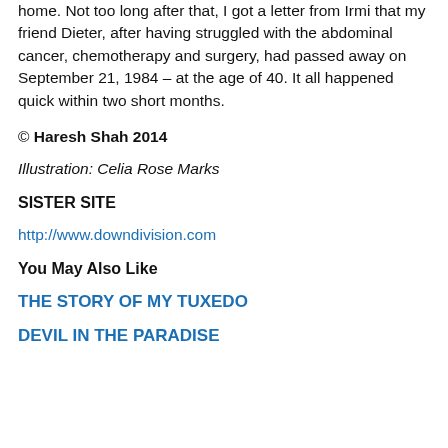home. Not too long after that, I got a letter from Irmi that my friend Dieter, after having struggled with the abdominal cancer, chemotherapy and surgery, had passed away on September 21, 1984 – at the age of 40. It all happened quick within two short months.
© Haresh Shah 2014
Illustration: Celia Rose Marks
SISTER SITE
http://www.downdivision.com
You May Also Like
THE STORY OF MY TUXEDO
DEVIL IN THE PARADISE